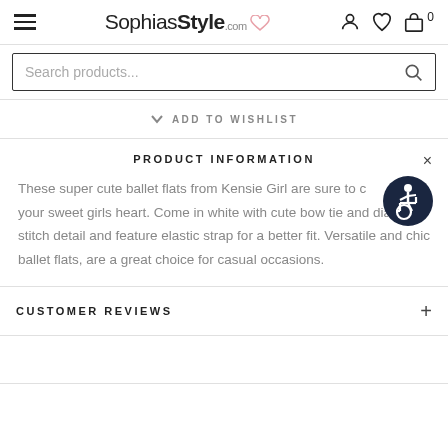SophiasStyle.com
Search products...
ADD TO WISHLIST
PRODUCT INFORMATION
These super cute ballet flats from Kensie Girl are sure to capture your sweet girls heart. Come in white with cute bow tie and diamond stitch detail and feature elastic strap for a better fit. Versatile and chic ballet flats, are a great choice for casual occasions.
CUSTOMER REVIEWS